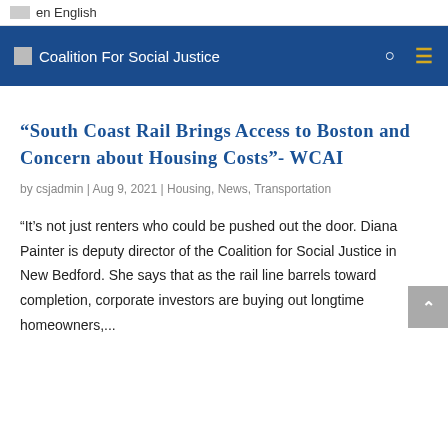en English
Coalition For Social Justice
“South Coast Rail Brings Access to Boston and Concern about Housing Costs”- WCAI
by csjadmin | Aug 9, 2021 | Housing, News, Transportation
“It’s not just renters who could be pushed out the door. Diana Painter is deputy director of the Coalition for Social Justice in New Bedford. She says that as the rail line barrels toward completion, corporate investors are buying out longtime homeowners,...